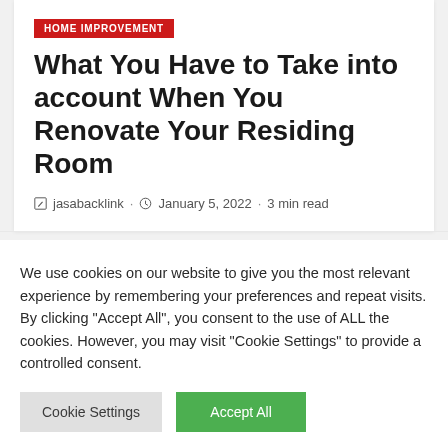HOME IMPROVEMENT
What You Have to Take into account When You Renovate Your Residing Room
jasabacklink · January 5, 2022 · 3 min read
We use cookies on our website to give you the most relevant experience by remembering your preferences and repeat visits. By clicking "Accept All", you consent to the use of ALL the cookies. However, you may visit "Cookie Settings" to provide a controlled consent.
Cookie Settings | Accept All